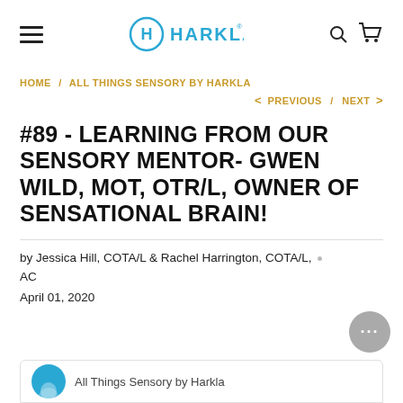HARKLA
HOME / ALL THINGS SENSORY BY HARKLA
< PREVIOUS / NEXT >
#89 - LEARNING FROM OUR SENSORY MENTOR- GWEN WILD, MOT, OTR/L, OWNER OF SENSATIONAL BRAIN!
by Jessica Hill, COTA/L & Rachel Harrington, COTA/L, AC
April 01, 2020
All Things Sensory by Harkla